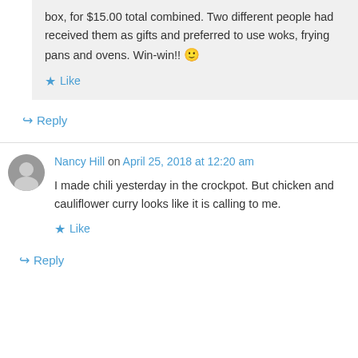box, for $15.00 total combined. Two different people had received them as gifts and preferred to use woks, frying pans and ovens. Win-win!! 🙂
Like
Reply
Nancy Hill on April 25, 2018 at 12:20 am
I made chili yesterday in the crockpot. But chicken and cauliflower curry looks like it is calling to me.
Like
Reply